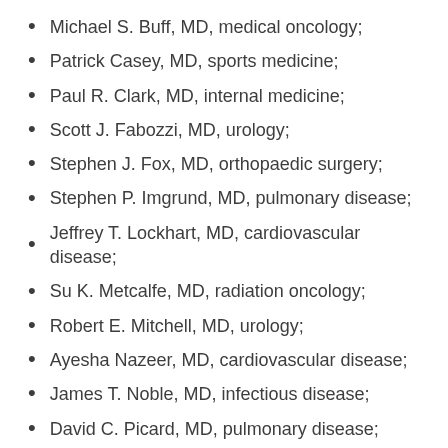Michael S. Buff, MD, medical oncology;
Patrick Casey, MD, sports medicine;
Paul R. Clark, MD, internal medicine;
Scott J. Fabozzi, MD, urology;
Stephen J. Fox, MD, orthopaedic surgery;
Stephen P. Imgrund, MD, pulmonary disease;
Jeffrey T. Lockhart, MD, cardiovascular disease;
Su K. Metcalfe, MD, radiation oncology;
Robert E. Mitchell, MD, urology;
Ayesha Nazeer, MD, cardiovascular disease;
James T. Noble, MD, infectious disease;
David C. Picard, MD, pulmonary disease;